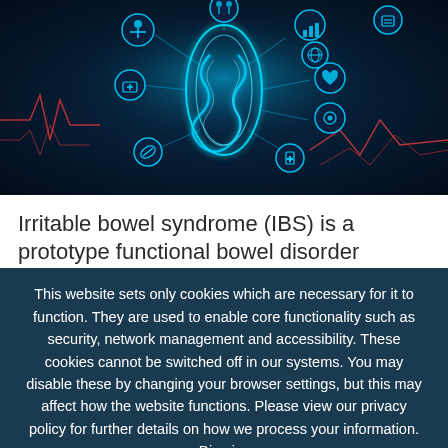[Figure (illustration): Digital medical illustration of glowing blue intestines/gut with connected health and medical icons (heartbeat, human figure, heart, first aid, pills, etc.) on a dark teal/navy background with red data lines — representing gut health and digital medicine.]
Irritable bowel syndrome (IBS) is a prototype functional bowel disorder affecting about 11% of the
This website sets only cookies which are necessary for it to function. They are used to enable core functionality such as security, network management and accessibility. These cookies cannot be switched off in our systems. You may disable these by changing your browser settings, but this may affect how the website functions. Please view our privacy policy for further details on how we process your information. Dismiss